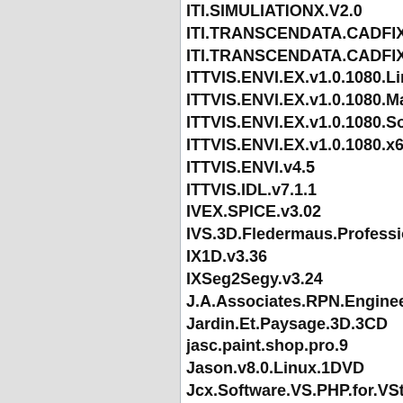ITI.SIMULIATIONX.V2.0
ITI.TRANSCENDATA.CADFIX.V8
ITI.TRANSCENDATA.CADFIX.V8
ITTVIS.ENVI.EX.v1.0.1080.Linux
ITTVIS.ENVI.EX.v1.0.1080.MacO
ITTVIS.ENVI.EX.v1.0.1080.Solar
ITTVIS.ENVI.EX.v1.0.1080.x64
ITTVIS.ENVI.v4.5
ITTVIS.IDL.v7.1.1
IVEX.SPICE.v3.02
IVS.3D.Fledermaus.Professional
IX1D.v3.36
IXSeg2Segy.v3.24
J.A.Associates.RPN.Engineering
Jardin.Et.Paysage.3D.3CD
jasc.paint.shop.pro.9
Jason.v8.0.Linux.1DVD
Jcx.Software.VS.PHP.for.VStud
Jcx.Software.VS.PHP.Standalon
JDbMonitor.v1.0
JDPaint.v5.18
JetBrains.IntelliJ.IDEA.v8.1.3